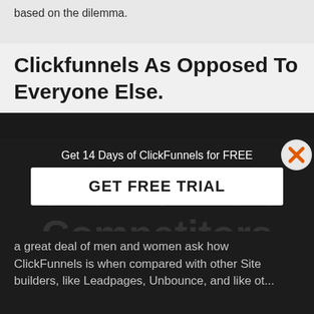based on the dilemma.
Clickfunnels As Opposed To Everyone Else.
[Figure (screenshot): Promotional overlay banner with text 'Get 14 Days of ClickFunnels for FREE' and a white button labeled 'GET FREE TRIAL', with an orange X close button in the top right corner. Behind the overlay, large dark text reads 'ClickFunnels Competitors'.]
a great deal of men and women ask how ClickFunnels is when compared with other Site builders, like Leadpages, Unbounce, and like others